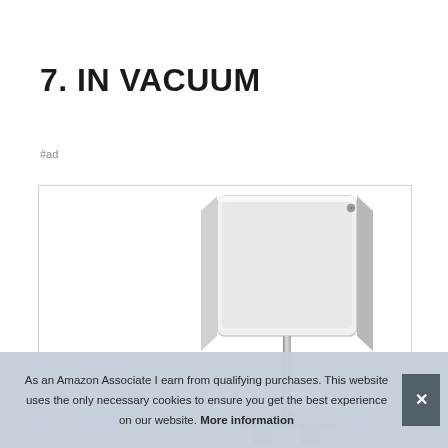7. IN VACUUM
#ad
[Figure (photo): Product image showing a white and silver device (appears to be an iMac or similar electronics stand/device) with metallic stand, partially visible in a white-bordered product box]
As an Amazon Associate I earn from qualifying purchases. This website uses the only necessary cookies to ensure you get the best experience on our website. More information